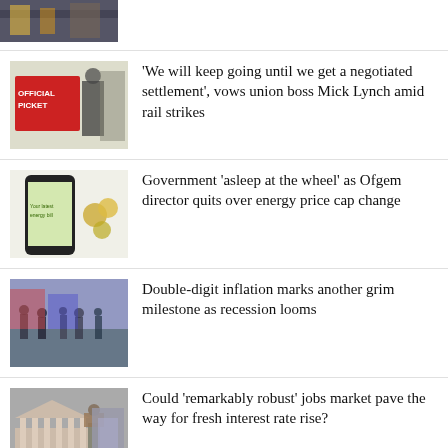[Figure (photo): Partial thumbnail of protest/rally image at top of page]
[Figure (photo): Official Picket sign with union member, rail strike]
'We will keep going until we get a negotiated settlement', vows union boss Mick Lynch amid rail strikes
[Figure (photo): Smartphone showing energy bill app with coins]
Government 'asleep at the wheel' as Ofgem director quits over energy price cap change
[Figure (photo): Busy street scene with pedestrians, recession/inflation]
Double-digit inflation marks another grim milestone as recession looms
[Figure (photo): Classical building exterior with statue on horseback]
Could 'remarkably robust' jobs market pave the way for fresh interest rate rise?
[Figure (photo): Energy related image with blue/purple tones]
Families massively underestimating how much energy bills will soar